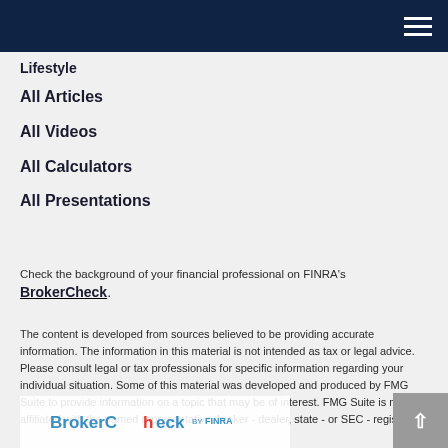Lifestyle
All Articles
All Videos
All Calculators
All Presentations
Check the background of your financial professional on FINRA's BrokerCheck.
The content is developed from sources believed to be providing accurate information. The information in this material is not intended as tax or legal advice. Please consult legal or tax professionals for specific information regarding your individual situation. Some of this material was developed and produced by FMG Suite to provide information on a topic that may be of interest. FMG Suite is not affiliated with the named representative, broker - dealer, state - or SEC - registered